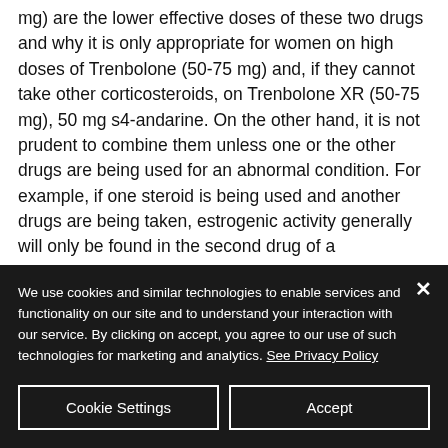mg) are the lower effective doses of these two drugs and why it is only appropriate for women on high doses of Trenbolone (50-75 mg) and, if they cannot take other corticosteroids, on Trenbolone XR (50-75 mg), 50 mg s4-andarine. On the other hand, it is not prudent to combine them unless one or the other drugs are being used for an abnormal condition. For example, if one steroid is being used and another drugs are being taken, estrogenic activity generally will only be found in the second drug of a combination; this includes steroids with only
We use cookies and similar technologies to enable services and functionality on our site and to understand your interaction with our service. By clicking on accept, you agree to our use of such technologies for marketing and analytics. See Privacy Policy